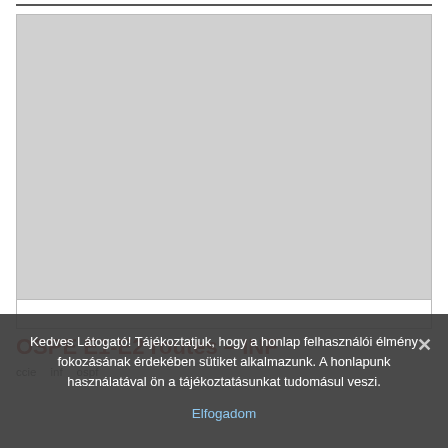[Figure (screenshot): Large grey placeholder image area representing a network diagram or screenshot]
OSPE E1-E2 routes – INF
Kedves Látogató! Tájékoztatjuk, hogy a honlap felhasználói élmény fokozásának érdekében sütiket alkalmazunk. A honlapunk használatával ön a tájékoztatásunkat tudomásul veszi.
Elfogadom
ccie
inf
ospf